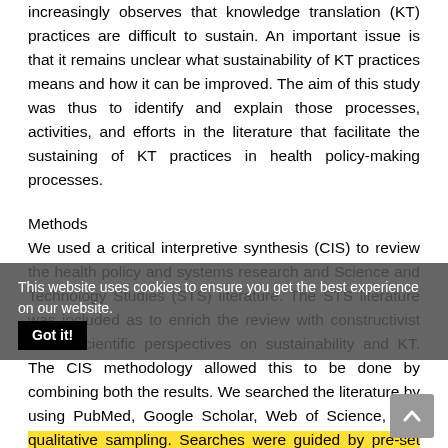increasingly observes that knowledge translation (KT) practices are difficult to sustain. An important issue is that it remains unclear what sustainability of KT practices means and how it can be improved. The aim of this study was thus to identify and explain those processes, activities, and efforts in the literature that facilitate the sustaining of KT practices in health policy-making processes.
Methods
We used a critical interpretive synthesis (CIS) to review the health policy and systems research and Science and Technology Studies (STS) literature. The STS literature was included as to enrich the review with constructivist social scientific perspectives on sustainability and KT. The CIS methodology allowed this to be done by combining both the results. We searched the literature by using PubMed, Google Scholar, Web of Science, and qualitative sampling. Searches were guided by pre-set eligibility criteria and all entries were iteratively analysed using thematic synthesis.